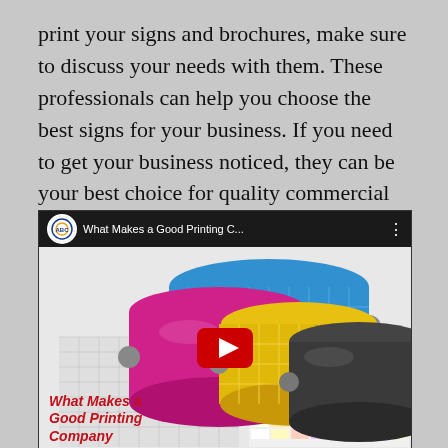print your signs and brochures, make sure to discuss your needs with them. These professionals can help you choose the best signs for your business. If you need to get your business noticed, they can be your best choice for quality commercial printing.
[Figure (screenshot): YouTube video thumbnail showing 'What Makes a Good Printing C...' with ABC logo, CMYK print rollers image, and red play button overlay with bold red italic title text 'What Makes a Good Printing Company']